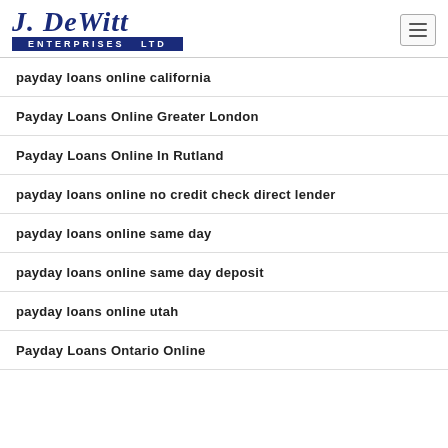J. DeWitt Enterprises Ltd
payday loans online california
Payday Loans Online Greater London
Payday Loans Online In Rutland
payday loans online no credit check direct lender
payday loans online same day
payday loans online same day deposit
payday loans online utah
Payday Loans Ontario Online